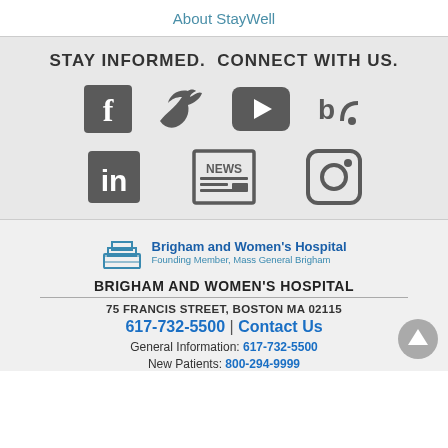About StayWell
STAY INFORMED.  CONNECT WITH US.
[Figure (infographic): Social media icons: Facebook, Twitter, YouTube, Blog/RSS, LinkedIn, News, Instagram]
[Figure (logo): Brigham and Women's Hospital logo — Founding Member, Mass General Brigham]
BRIGHAM AND WOMEN'S HOSPITAL
75 FRANCIS STREET, BOSTON MA 02115
617-732-5500 | Contact Us
General Information: 617-732-5500
New Patients: 800-294-9999